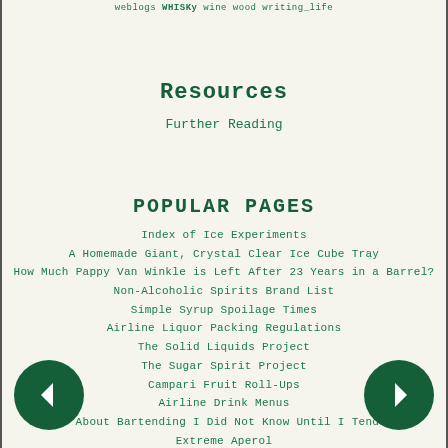weblogs WHISKy wine wood writing_life
Resources
Further Reading
POPULAR PAGES
Index of Ice Experiments
A Homemade Giant, Crystal Clear Ice Cube Tray
How Much Pappy Van Winkle is Left After 23 Years in a Barrel?
Non-Alcoholic Spirits Brand List
Simple Syrup Spoilage Times
Airline Liquor Packing Regulations
The Solid Liquids Project
The Sugar Spirit Project
Campari Fruit Roll-Ups
Airline Drink Menus
Things About Bartending I Did Not Know Until I Tended Bar
Extreme Aperol